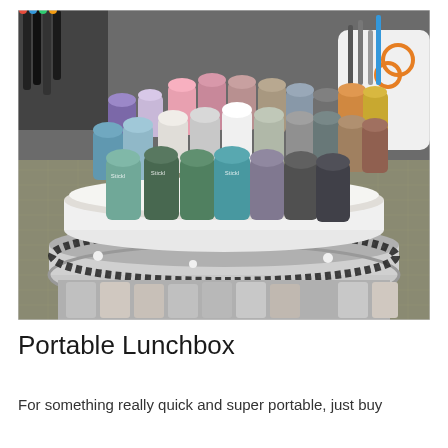[Figure (photo): A circular tiered organizer (made from stacked round tins/lunchboxes) holding numerous ink distress pads or similar craft ink cylinders arranged in a spiral pattern. The organizer is decorated with black lace trim and sits on a craft table surrounded by markers and other craft supplies.]
Portable Lunchbox
For something really quick and super portable, just buy